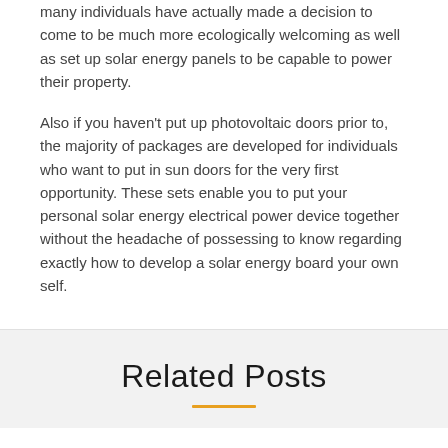many individuals have actually made a decision to come to be much more ecologically welcoming as well as set up solar energy panels to be capable to power their property.
Also if you haven't put up photovoltaic doors prior to, the majority of packages are developed for individuals who want to put in sun doors for the very first opportunity. These sets enable you to put your personal solar energy electrical power device together without the headache of possessing to know regarding exactly how to develop a solar energy board your own self.
Related Posts